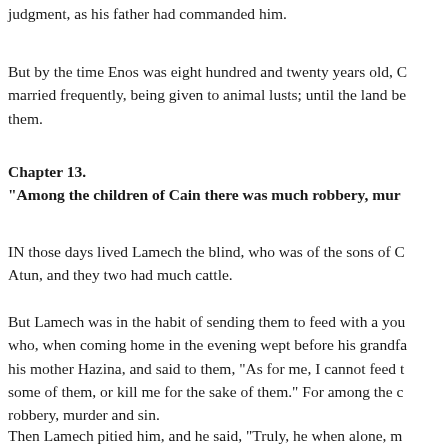judgment, as his father had commanded him.
But by the time Enos was eight hundred and twenty years old, C married frequently, being given to animal lusts; until the land be them.
Chapter 13.
“Among the children of Cain there was much robbery, mur…
IN those days lived Lamech the blind, who was of the sons of C Atun, and they two had much cattle.
But Lamech was in the habit of sending them to feed with a you who, when coming home in the evening wept before his grandfa his mother Hazina, and said to them, “As for me, I cannot feed t some of them, or kill me for the sake of them.” For among the c robbery, murder and sin.
Then Lamech pitied him, and he said, “Truly, he when alone, m…